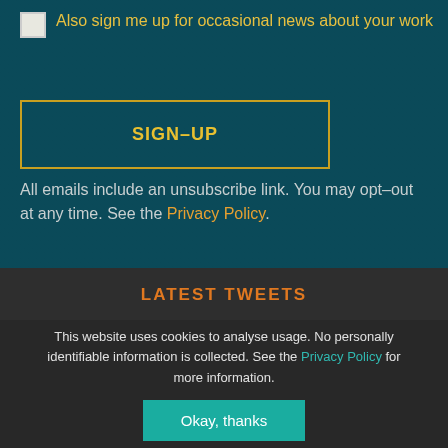Also sign me up for occasional news about your work
SIGN-UP
All emails include an unsubscribe link. You may opt-out at any time. See the Privacy Policy.
LATEST TWEETS
This website uses cookies to analyse usage. No personally identifiable information is collected. See the Privacy Policy for more information.
Okay, thanks